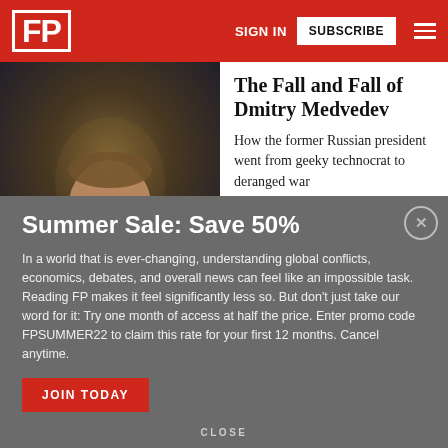FP | SIGN IN | SUBSCRIBE
The Fall and Fall of Dmitry Medvedev
How the former Russian president went from geeky technocrat to deranged war
[Figure (photo): Dark photo of Dmitry Medvedev in a suit with earpiece, dimly lit background]
Summer Sale: Save 50%
In a world that is ever-changing, understanding global conflicts, economics, debates, and overall news can feel like an impossible task. Reading FP makes it feel significantly less so. But don't just take our word for it: Try one month of access at half the price. Enter promo code FPSUMMER22 to claim this rate for your first 12 months. Cancel anytime.
JOIN TODAY
CLOSE